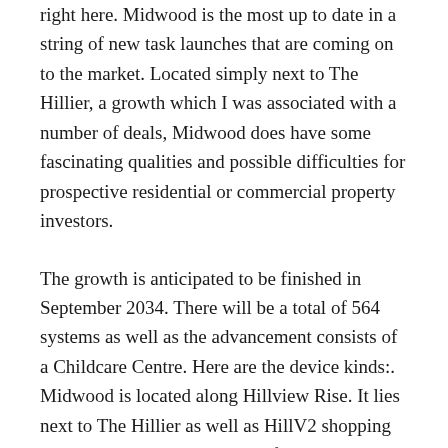right here. Midwood is the most up to date in a string of new task launches that are coming on to the market. Located simply next to The Hillier, a growth which I was associated with a number of deals, Midwood does have some fascinating qualities and possible difficulties for prospective residential or commercial property investors.
The growth is anticipated to be finished in September 2034. There will be a total of 564 systems as well as the advancement consists of a Childcare Centre. Here are the device kinds:. Midwood is located along Hillview Rise. It lies next to The Hillier as well as HillV2 shopping mall as well as opposite Kingsford Hillview Optimal. Just north and west of Midwood is Hillview Camp and that is where the Ministry of Support MINDEF structure is located. The walk to Hillview MRT Terminal according to Google Maps will certainly take around 5 minutes and the range covered will